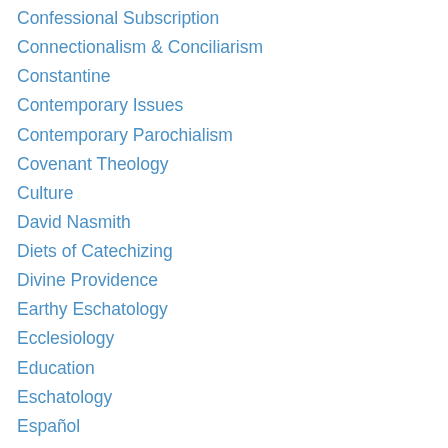Confessional Subscription
Connectionalism & Conciliarism
Constantine
Contemporary Issues
Contemporary Parochialism
Covenant Theology
Culture
David Nasmith
Diets of Catechizing
Divine Providence
Earthy Eschatology
Ecclesiology
Education
Eschatology
Español
Establishments
Evangelistic Catechesis
Experimental Religion & the Cure of Souls
Faith & Saving Faith
Family Religion